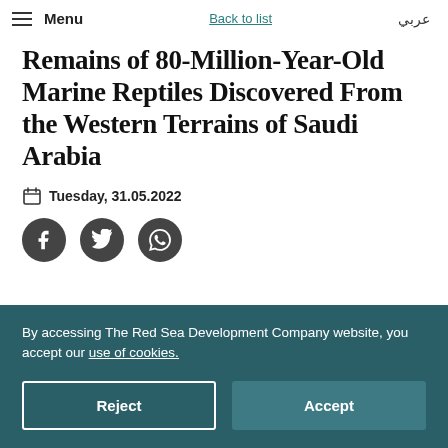Menu   Back to list   عربي
Remains of 80-Million-Year-Old Marine Reptiles Discovered From the Western Terrains of Saudi Arabia
Tuesday, 31.05.2022
[Figure (illustration): Social sharing icons: Facebook, Twitter, WhatsApp]
By accessing The Red Sea Development Company website, you accept our use of cookies.
Reject   Accept